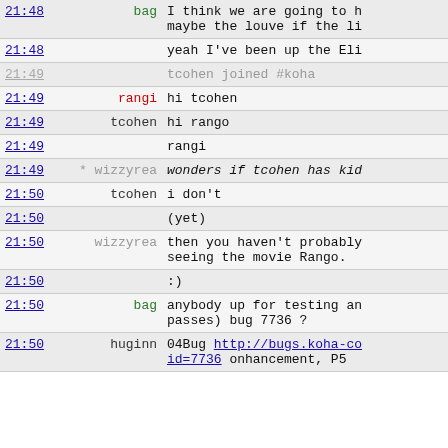| time | user | message |
| --- | --- | --- |
| 21:48 | bag | I think we are going to h  maybe the louve if the li |
| 21:48 |  | yeah I've been up the Eli |
| 21:49 |  | tcohen joined #koha |
| 21:49 | rangi | hi tcohen |
| 21:49 | tcohen | hi rango |
| 21:49 |  | rangi |
| 21:49 | * wizzyrea | wonders if tcohen has kid |
| 21:50 | tcohen | i don't |
| 21:50 |  | (yet) |
| 21:50 | wizzyrea | then you haven't probably  seeing the movie Rango. |
| 21:50 |  | :) |
| 21:50 | bag | anybody up for testing an  passes) bug 7736 ? |
| 21:50 | huginn | 04Bug http://bugs.koha-co  id=7736 onhancement, P5 |